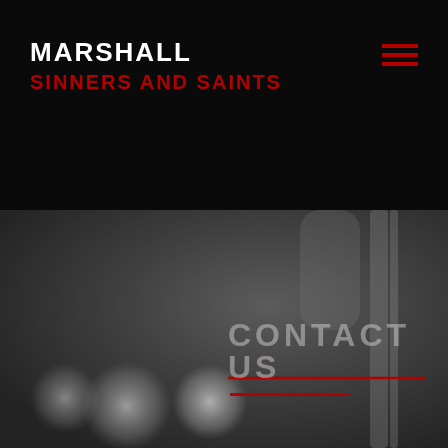MARSHALL
SINNERS AND SAINTS
[Figure (illustration): Hamburger menu icon with three horizontal red lines in the top-right corner of the black header]
[Figure (photo): Grayscale blurred background photo of a musical instrument (possibly a trumpet or wind instrument) with bokeh circles of light in the foreground]
CONTACT US